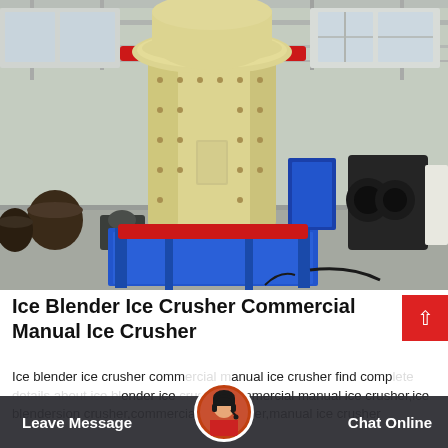[Figure (photo): Industrial cone crusher machine with cream/yellow cylindrical body, red bands at top and bottom, blue base frame, photographed in a factory/warehouse setting. Other heavy machinery parts visible in background.]
Ice Blender Ice Crusher Commercial Manual Ice Crusher
Ice blender ice crusher commercial manual ice crusher find complete details about ice blender ice crusher commercial manual ice crusher,ice blendersion crusher,commercial ice crusher,manual ice crusher
[Figure (other): Customer service chat bar at bottom with Leave Message button on left, Chat Online button on right, and circular avatar of customer service representative in center]